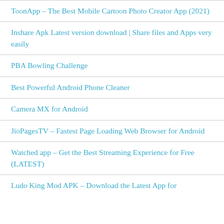ToonApp – The Best Mobile Cartoon Photo Creator App (2021)
Inshare Apk Latest version download | Share files and Apps very easily
PBA Bowling Challenge
Best Powerful Android Phone Cleaner
Camera MX for Android
JioPagesTV – Fastest Page Loading Web Browser for Android
Watched app – Get the Best Streaming Experience for Free (LATEST)
Ludo King Mod APK – Download the Latest App for